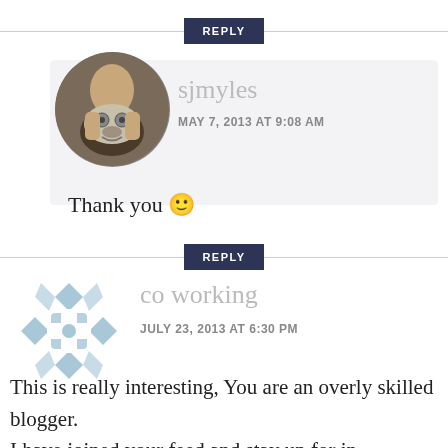REPLY
[Figure (photo): Round avatar photo of a person holding a clay sculpture face up to their own face]
sjmyles
MAY 7, 2013 AT 9:08 AM
Thank you 🙂
REPLY
[Figure (logo): Round light blue checkered/mosaic pattern logo for co working]
co working
JULY 23, 2013 AT 6:30 PM
This is really interesting, You are an overly skilled blogger. I have joined your feed and stay up for in